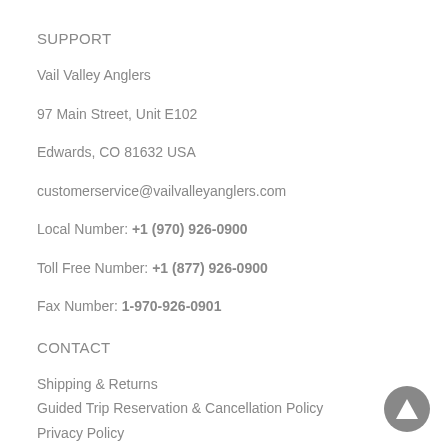SUPPORT
Vail Valley Anglers
97 Main Street, Unit E102
Edwards, CO 81632 USA
customerservice@vailvalleyanglers.com
Local Number: +1 (970) 926-0900
Toll Free Number: +1 (877) 926-0900
Fax Number: 1-970-926-0901
CONTACT
Shipping & Returns
Guided Trip Reservation & Cancellation Policy
Privacy Policy
Accessibility Policy
Terms & Conditions
Affiliate Information
SHOP ONLINE
Fly Rods
[Figure (illustration): Dark grey circular button with an upward-pointing triangle/arrow icon]